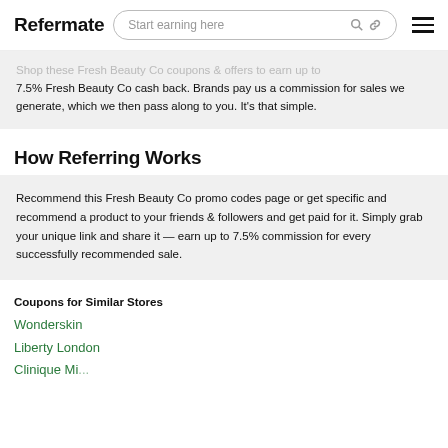Refermate | Start earning here
Shop these Fresh Beauty Co coupons & offers to earn up to 7.5% Fresh Beauty Co cash back. Brands pay us a commission for sales we generate, which we then pass along to you. It's that simple.
How Referring Works
Recommend this Fresh Beauty Co promo codes page or get specific and recommend a product to your friends & followers and get paid for it. Simply grab your unique link and share it — earn up to 7.5% commission for every successfully recommended sale.
Coupons for Similar Stores
Wonderskin
Liberty London
Clinique Midi...